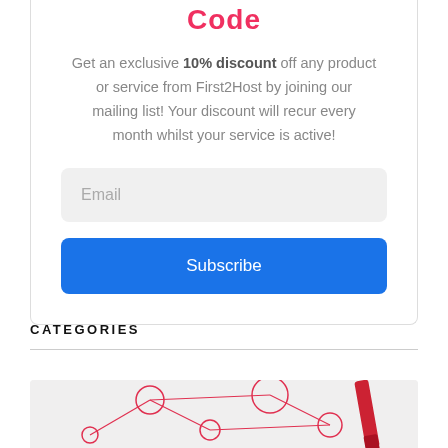Code
Get an exclusive 10% discount off any product or service from First2Host by joining our mailing list! Your discount will recur every month whilst your service is active!
[Figure (screenshot): Email input field with placeholder text 'Email' on a light grey background with rounded corners]
[Figure (screenshot): Blue Subscribe button with white text and rounded corners]
CATEGORIES
[Figure (photo): Partial view of a photo showing red network/web diagram lines with a red pen or marker on a white background]